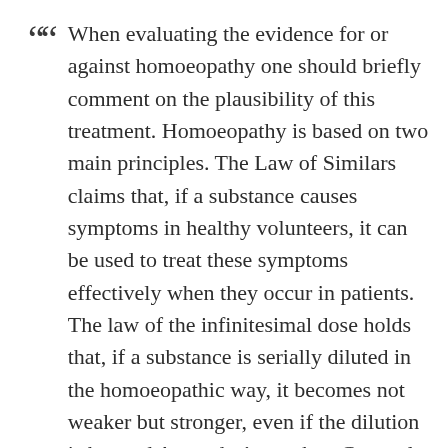When evaluating the evidence for or against homoeopathy one should briefly comment on the plausibility of this treatment. Homoeopathy is based on two main principles. The Law of Similars claims that, if a substance causes symptoms in healthy volunteers, it can be used to treat these symptoms effectively when they occur in patients. The law of the infinitesimal dose holds that, if a substance is serially diluted in the homoeopathic way, it becomes not weaker but stronger, even if the dilution is beyond Avogadro's number. Currently, there is little scientific evidence to support these theoretical principles. It is